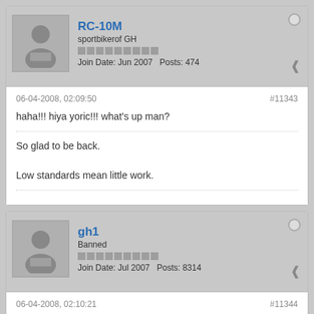[Figure (other): User avatar silhouette for RC-10M]
RC-10M
sportbikerof GH
Join Date: Jun 2007   Posts: 474
06-04-2008, 02:09:50
#11343
haha!!! hiya yoric!!! what's up man?
So glad to be back.

Low standards mean little work.
[Figure (other): User avatar silhouette for gh1]
gh1
Banned
Join Date: Jul 2007   Posts: 8314
06-04-2008, 02:10:21
#11344
Originally posted by gamershooder1